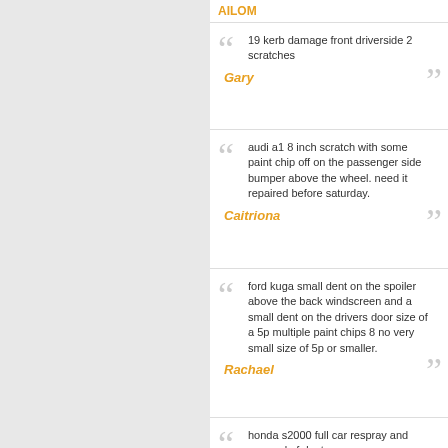AILOM
19 kerb damage front driverside 2 scratches
Gary
audi a1 8 inch scratch with some paint chip off on the passenger side bumper above the wheel. need it repaired before saturday.
Caitriona
ford kuga small dent on the spoiler above the back windscreen and a small dent on the drivers door size of a 5p multiple paint chips 8 no very small size of 5p or smaller.
Rachael
honda s2000 full car respray and removal of dents on car
Nathan
vaux vectra x sri. front drivers side scuff. id like to know how much roughly